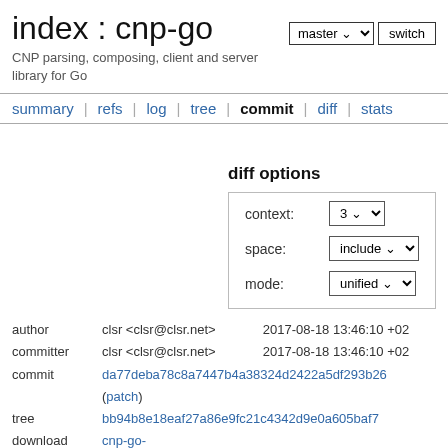index : cnp-go
CNP parsing, composing, client and server library for Go
summary | refs | log | tree | commit | diff | stats
diff options
| option | value |
| --- | --- |
| context: | 3 |
| space: | include |
| mode: | unified |
| field | value | date |
| --- | --- | --- |
| author | clsr <clsr@clsr.net> | 2017-08-18 13:46:10 +02 |
| committer | clsr <clsr@clsr.net> | 2017-08-18 13:46:10 +02 |
| commit | da77deba78c8a7447b4a38324d2422a5df293b26 (patch) |  |
| tree | bb94b8e18eaf27a86e9fc21c4342d9e0a605baf7 |  |
| download | cnp-go-da77deba78c8a7447b4a38324d2422a5df293b26.tar.
cnp-go-da77deba78c8a7447b4a38324d2422a5df293b26.zip |  |